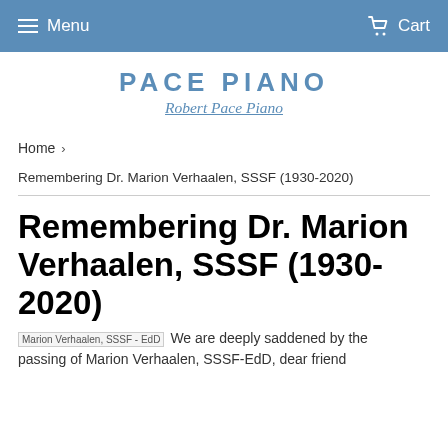Menu   Cart
[Figure (logo): Pace Piano / Robert Pace Piano logo in blue text]
Home  ›
Remembering Dr. Marion Verhaalen, SSSF (1930-2020)
Remembering Dr. Marion Verhaalen, SSSF (1930-2020)
Marion Verhaalen, SSSF - EdD   We are deeply saddened by the passing of Marion Verhaalen, SSSF-EdD, dear friend